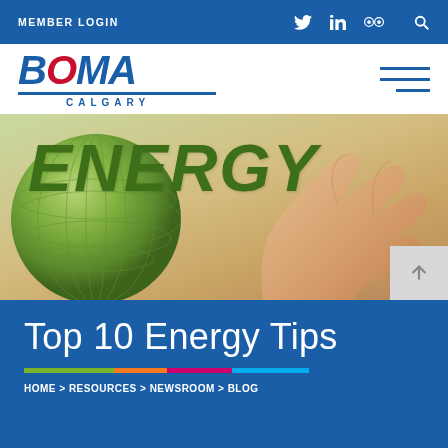MEMBER LOGIN
[Figure (logo): BOMA Calgary logo with blue bold italic BOMA text, red dot, horizontal divider, and CALGARY text below]
[Figure (photo): Hero image with large green ENERGY text and a green globe being held by a hand]
Top 10 Energy Tips
HOME > RESOURCES > NEWSROOM > BLOG